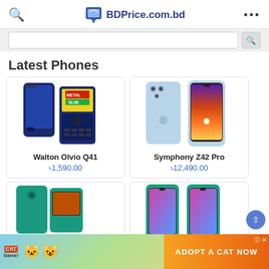BDPrice.com.bd
[Figure (screenshot): Search bar with magnifier icon]
Latest Phones
[Figure (photo): Walton Olvio Q41 phone image]
Walton Olvio Q41
৳1,590.00
[Figure (photo): Symphony Z42 Pro phone image]
Symphony Z42 Pro
৳12,490.00
[Figure (photo): Partial phone card - teal feature phone]
[Figure (photo): Partial phone card - teal smartphone]
[Figure (screenshot): Ad banner: Adopt a Cat Now mobile game advertisement]